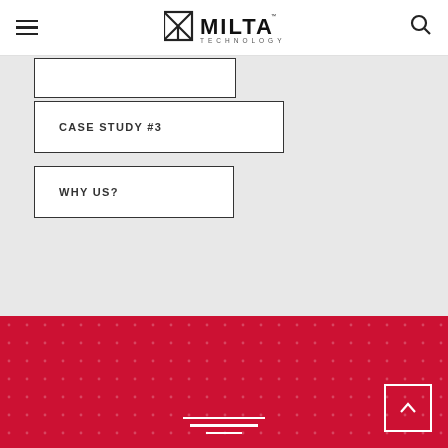MILTA Technology - navigation header with hamburger menu, logo, and search icon
CASE STUDY #3
WHY US?
[Figure (other): Red section with dot pattern background, back-to-top arrow button in bottom-right corner, and three decorative white horizontal lines centered at bottom]